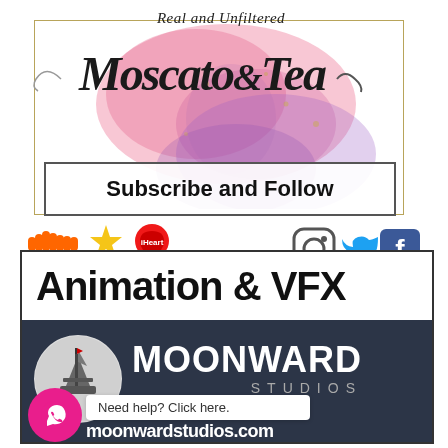[Figure (logo): Moscato & Tea podcast banner with watercolor background, cursive script logo reading 'Moscato & Tea', tagline 'Real and Unfiltered', subscribe and follow box, and podcast/social media icons including SoundCloud, Podbean, iHeart Radio, iTunes, Instagram, Twitter, Facebook]
[Figure (logo): Moonward Studios advertisement with 'Animation & VFX' heading, dark navy background with circular ship logo, company name MOONWARD STUDIOS, WhatsApp chat bubble, help text 'Need help? Click here.', and website moonwardstudios.com]